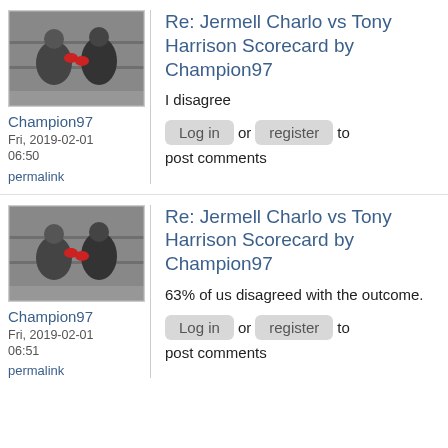[Figure (photo): Avatar image of a boxing match, two fighters in the ring]
Champion97
Fri, 2019-02-01 06:50
permalink
Re: Jermell Charlo vs Tony Harrison Scorecard by Champion97
I disagree
Log in or register to post comments
[Figure (photo): Avatar image of a boxing match, two fighters in the ring]
Champion97
Fri, 2019-02-01 06:51
permalink
Re: Jermell Charlo vs Tony Harrison Scorecard by Champion97
63% of us disagreed with the outcome.
Log in or register to post comments